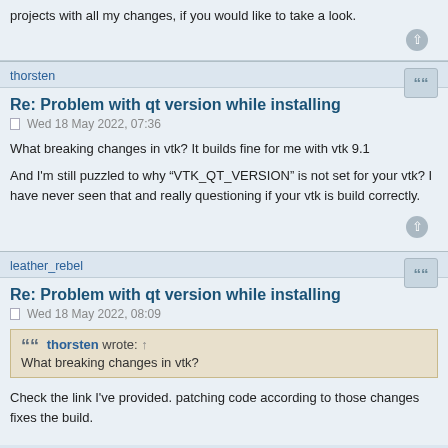projects with all my changes, if you would like to take a look.
thorsten
Re: Problem with qt version while installing
Wed 18 May 2022, 07:36
What breaking changes in vtk? It builds fine for me with vtk 9.1
And I'm still puzzled to why "VTK_QT_VERSION" is not set for your vtk? I have never seen that and really questioning if your vtk is build correctly.
leather_rebel
Re: Problem with qt version while installing
Wed 18 May 2022, 08:09
thorsten wrote: ↑
What breaking changes in vtk?
Check the link I've provided. patching code according to those changes fixes the build.